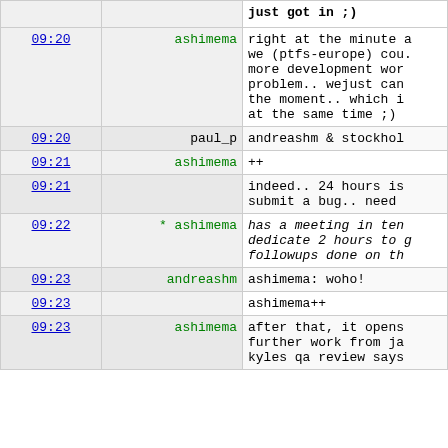| time | user | message |
| --- | --- | --- |
| 09:20 | ashimema | right at the minute a we (ptfs-europe) cou. more development wor problem.. wejust can the moment.. which i at the same time ;) |
| 09:20 | paul_p | andreashm & stockhol |
| 09:21 | ashimema | ++ |
| 09:21 |  | indeed.. 24 hours is submit a bug.. need |
| 09:22 | * ashimema | has a meeting in ten dedicate 2 hours to g followups done on th |
| 09:23 | andreashm | ashimema: woho! |
| 09:23 |  | ashimema++ |
| 09:23 | ashimema | after that, it opens further work from ja kyles qa review says |